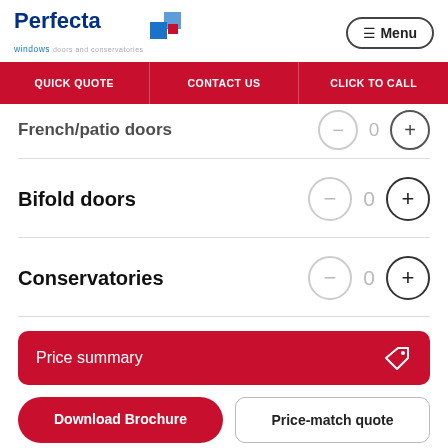[Figure (logo): Perfecta Windows logo with blue squares graphic and blue text]
☰ Menu
QUICK QUOTE | CONTACT US | CLICK TO CALL
French/patio doors — counter: 0
Bifold doors — counter: 0
Conservatories — counter: 0
Price summary
Download Brochure
Price-match quote